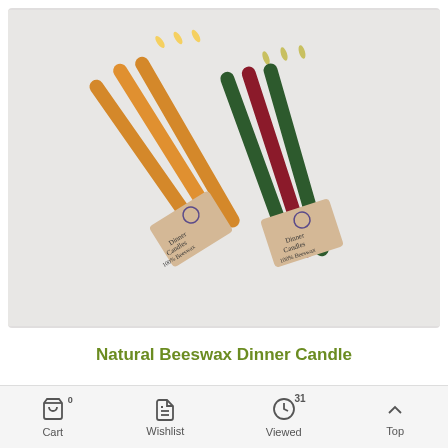[Figure (photo): Two bundles of taper dinner candles. Left bundle is golden/amber colored beeswax candles, right bundle is dark red and forest green candles. Each bundle is wrapped with a kraft paper label reading 'Dinner Candles 100% Beeswax' with a decorative emblem. Candles are arranged crossed over each other on a white surface.]
Natural Beeswax Dinner Candle
Cart  Wishlist  Viewed 31  Top